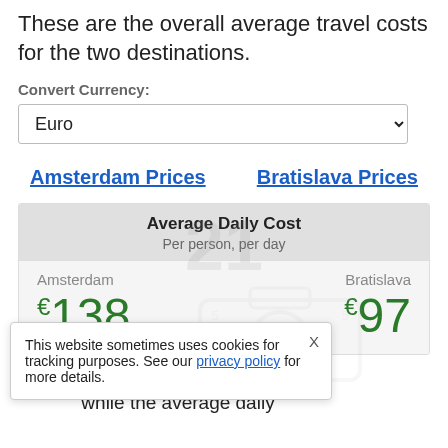These are the overall average travel costs for the two destinations.
Convert Currency:
Euro
Amsterdam Prices
Bratislava Prices
| Average Daily Cost (Per person, per day) |  |  |
| --- | --- | --- |
| Amsterdam |  | Bratislava |
| €138 |  | €97 |
ost (per person) in while the average daily
This website sometimes uses cookies for tracking purposes. See our privacy policy for more details.